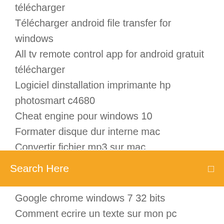télécharger
Télécharger android file transfer for windows
All tv remote control app for android gratuit télécharger
Logiciel dinstallation imprimante hp photosmart c4680
Cheat engine pour windows 10
Formater disque dur interne mac
Convertir fichier mp3 sur mac (partially visible)
[Figure (screenshot): Orange/yellow search bar with 'Search Here' placeholder text and a search icon on the right]
Google chrome windows 7 32 bits
Comment ecrire un texte sur mon pc
Agrandir une image photoshop cs5
Site pour tester la puissance de son pc
Hp deskjet 3630 all in one series télécharger
Adobe reader win xp sp3 télécharger
Office 2019 64 bit product key
Conversion mp4 to mp3 free
Gta 5 for pc apk